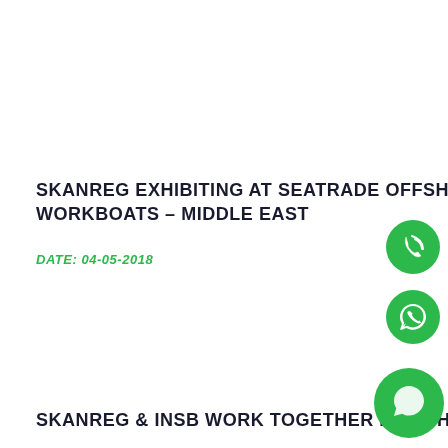SKANREG EXHIBITING AT SEATRADE OFFSHORE MARINE & WORKBOATS – MIDDLE EAST
DATE: 04-05-2018
[Figure (illustration): Green circle with white phone/call icon]
[Figure (illustration): Green circle with white WhatsApp logo]
SKANREG & INSB WORK TOGETHER FOR SHIP SAFETY
[Figure (illustration): Green circle partially visible at bottom right]